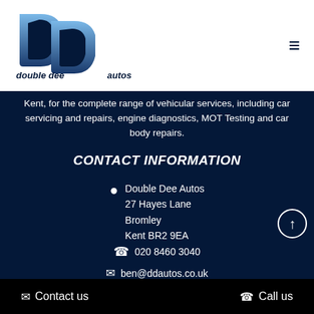[Figure (logo): Double Dee Autos logo — stylized blue DD letters with 'double dee autos' text]
Kent, for the complete range of vehicular services, including car servicing and repairs, engine diagnostics, MOT Testing and car body repairs.
CONTACT INFORMATION
Double Dee Autos
27 Hayes Lane
Bromley
Kent BR2 9EA
020 8460 3040
ben@ddautos.co.uk
Contact us   Call us